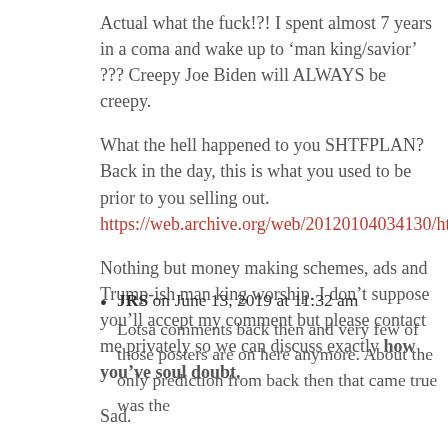Actual what the fuck!?! I spent almost 7 years in a coma and wake up to ‘man king/savior’ ??? Creepy Joe Biden will ALWAYS be creepy.
What the hell happened to you SHTFPLAN? Back in the day, this is what you used to be prior to you selling out. https://web.archive.org/web/20120104034130/http://www.shtfplan
Nothing but money making schemes, ads and Trump-ish man king worship. I don’t suppose you’ll accept my comment but please contact me privately so we can discuss exactly how you’ve soul doubt.
Sad.
JRS on June 13, 2019 at 11:32 am
Lotsa comments back then and very few of those posters are on here anymore. About the only prediction from back then that came true was the